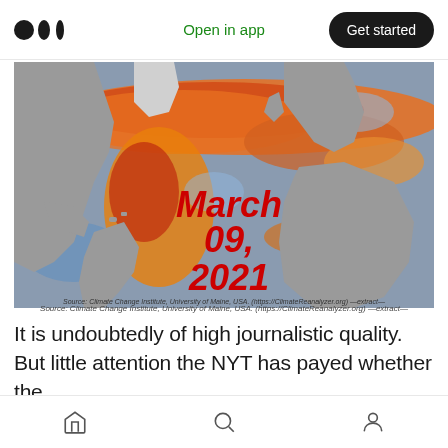Open in app  |  Get started
[Figure (map): World ocean temperature anomaly map dated March 09, 2021, showing warm (orange/red) and cool (blue) sea surface temperature anomalies. Large warm anomalies visible in North Atlantic. Source: Climate Change Institute, University of Maine, USA. (https://ClimateReanalyzer.org) —extract—]
Source: Climate Change Institute, University of Maine, USA. (https://ClimateReanalyzer.org) —extract—
It is undoubtedly of high journalistic quality. But little attention the NYT has payed whether the
Home  Search  Profile